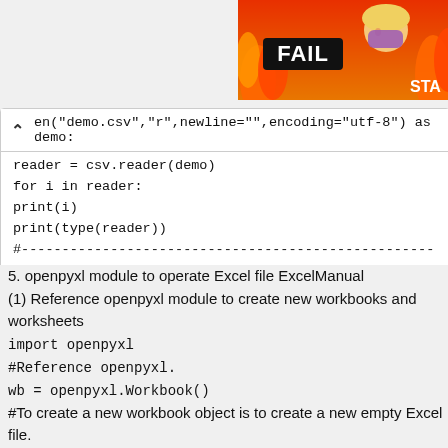[Figure (screenshot): Partial screenshot of a 'FAIL' meme thumbnail image in the top right corner, showing flames and a cartoon woman. Text 'FAIL' and 'STA' visible.]
en("demo.csv","r",newline="",encoding="utf-8") as demo:
reader = csv.reader(demo)
for i in reader:
print(i)
print(type(reader))
#-----------------------------------------------------------------------------------------------#
5. openpyxl module to operate Excel file ExcelManual
(1) Reference openpyxl module to create new workbooks and worksheets
import openpyxl
#Reference openpyxl.
wb = openpyxl.Workbook()
#To create a new workbook object is to create a new empty Excel file.
sheet = wb.active